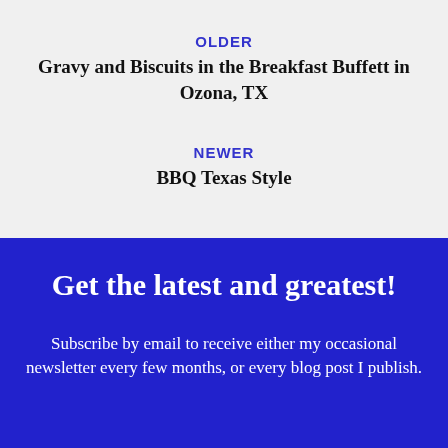OLDER
Gravy and Biscuits in the Breakfast Buffett in Ozona, TX
NEWER
BBQ Texas Style
Get the latest and greatest!
Subscribe by email to receive either my occasional newsletter every few months, or every blog post I publish.